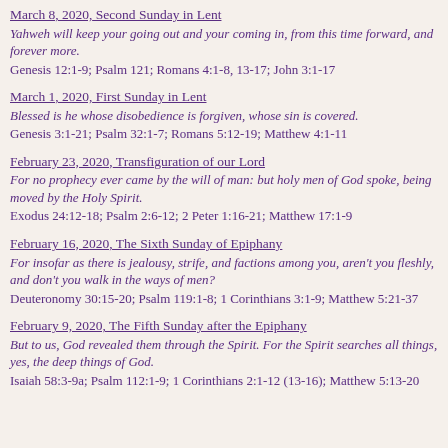March 8, 2020, Second Sunday in Lent
Yahweh will keep your going out and your coming in, from this time forward, and forever more.
Genesis 12:1-9; Psalm 121; Romans 4:1-8, 13-17; John 3:1-17
March 1, 2020, First Sunday in Lent
Blessed is he whose disobedience is forgiven, whose sin is covered.
Genesis 3:1-21; Psalm 32:1-7; Romans 5:12-19; Matthew 4:1-11
February 23, 2020, Transfiguration of our Lord
For no prophecy ever came by the will of man: but holy men of God spoke, being moved by the Holy Spirit.
Exodus 24:12-18; Psalm 2:6-12; 2 Peter 1:16-21; Matthew 17:1-9
February 16, 2020, The Sixth Sunday of Epiphany
For insofar as there is jealousy, strife, and factions among you, aren't you fleshly, and don't you walk in the ways of men?
Deuteronomy 30:15-20; Psalm 119:1-8; 1 Corinthians 3:1-9; Matthew 5:21-37
February 9, 2020, The Fifth Sunday after the Epiphany
But to us, God revealed them through the Spirit. For the Spirit searches all things, yes, the deep things of God.
Isaiah 58:3-9a; Psalm 112:1-9; 1 Corinthians 2:1-12 (13-16); Matthew 5:13-20